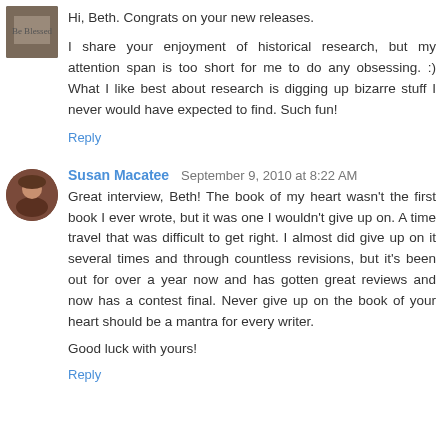Hi, Beth. Congrats on your new releases.
I share your enjoyment of historical research, but my attention span is too short for me to do any obsessing. :) What I like best about research is digging up bizarre stuff I never would have expected to find. Such fun!
Reply
Susan Macatee  September 9, 2010 at 8:22 AM
Great interview, Beth! The book of my heart wasn't the first book I ever wrote, but it was one I wouldn't give up on. A time travel that was difficult to get right. I almost did give up on it several times and through countless revisions, but it's been out for over a year now and has gotten great reviews and now has a contest final. Never give up on the book of your heart should be a mantra for every writer.
Good luck with yours!
Reply